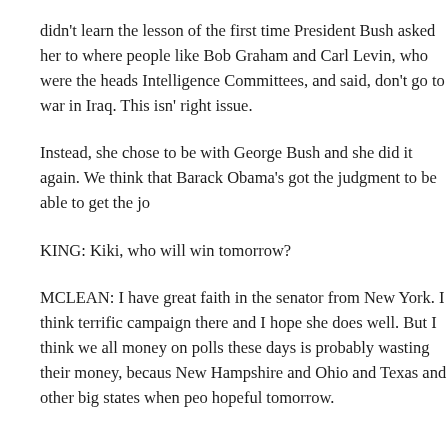didn't learn the lesson of the first time President Bush asked her to where people like Bob Graham and Carl Levin, who were the heads Intelligence Committees, and said, don't go to war in Iraq. This isn' right issue.
Instead, she chose to be with George Bush and she did it again. We think that Barack Obama's got the judgment to be able to get the jo
KING: Kiki, who will win tomorrow?
MCLEAN: I have great faith in the senator from New York. I think terrific campaign there and I hope she does well. But I think we all money on polls these days is probably wasting their money, becaus New Hampshire and Ohio and Texas and other big states when peo hopeful tomorrow.